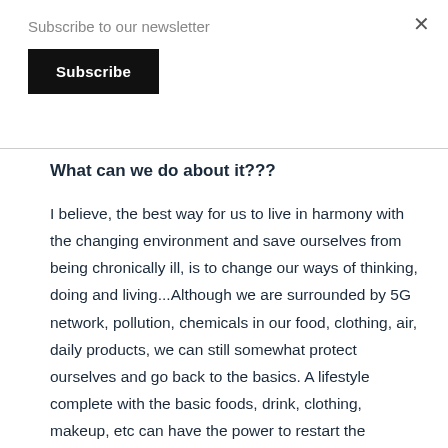Subscribe to our newsletter
Subscribe
What can we do about it???
I believe, the best way for us to live in harmony with the changing environment and save ourselves from being chronically ill, is to change our ways of thinking, doing and living...Although we are surrounded by 5G network, pollution, chemicals in our food, clothing, air, daily products, we can still somewhat protect ourselves and go back to the basics. A lifestyle complete with the basic foods, drink, clothing, makeup, etc can have the power to restart the immune system... after all we are the most